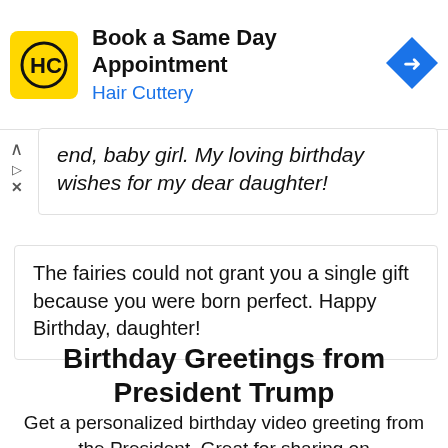[Figure (other): Hair Cuttery advertisement banner: yellow square logo with HC initials, text 'Book a Same Day Appointment' and 'Hair Cuttery' in blue, blue navigation arrow icon on right]
end, baby girl. My loving birthday wishes for my dear daughter!
The fairies could not grant you a single gift because you were born perfect. Happy Birthday, daughter!
Birthday Greetings from President Trump
Get a personalized birthday video greeting from the President. Great for sharing on